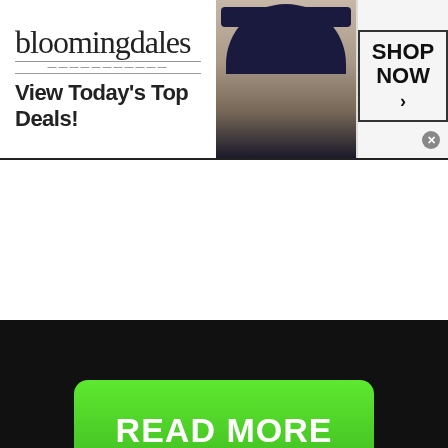[Figure (screenshot): Bloomingdales banner ad with model wearing hat, 'View Today's Top Deals!' text, and 'SHOP NOW >' button]
[Figure (screenshot): Dark background section with green 'READ MORE' button and 'on Newz Online' watermark text]
[Figure (screenshot): SmartPak ColiCare ad banner: '50% Off Two Months of ColiCare, ColiCare Eligible Supplements, CODE: COLICARE10', Shop Now button]